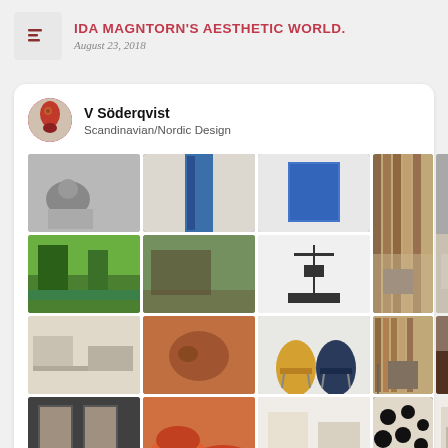IDA MAGNTORN'S AESTHETIC WORLD. August 23, 2018
V Söderqvist
Scandinavian/Nordic Design
[Figure (screenshot): Pinterest board collage showing Scandinavian/Nordic Design images: furniture, interiors, chairs, architecture, art objects in a grid layout.]